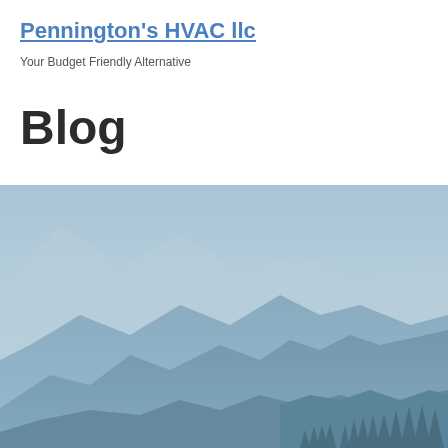Pennington's HVAC llc
Your Budget Friendly Alternative
Blog
[Figure (photo): Misty mountain landscape with layered blue-grey ridges and evergreen trees at the bottom, in a cool blue-steel color palette]